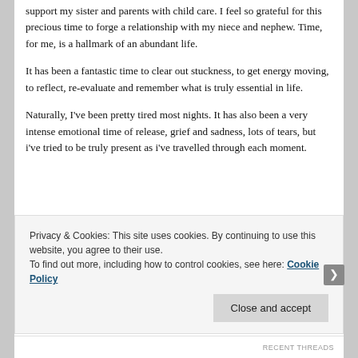support my sister and parents with child care. I feel so grateful for this precious time to forge a relationship with my niece and nephew. Time, for me, is a hallmark of an abundant life.
It has been a fantastic time to clear out stuckness, to get energy moving, to reflect, re-evaluate and remember what is truly essential in life.
Naturally, I've been pretty tired most nights. It has also been a very intense emotional time of release, grief and sadness, lots of tears, but i've tried to be truly present as i've travelled through each moment.
Privacy & Cookies: This site uses cookies. By continuing to use this website, you agree to their use.
To find out more, including how to control cookies, see here: Cookie Policy
Close and accept